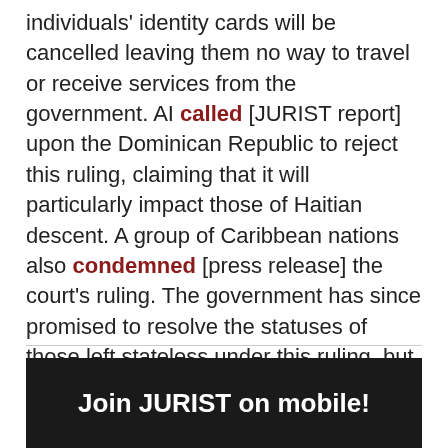individuals' identity cards will be cancelled leaving them no way to travel or receive services from the government. AI called [JURIST report] upon the Dominican Republic to reject this ruling, claiming that it will particularly impact those of Haitian descent. A group of Caribbean nations also condemned [press release] the court's ruling. The government has since promised to resolve the statuses of those left stateless under this ruling, but has only offered residency and work permits.
Join JURIST on mobile!